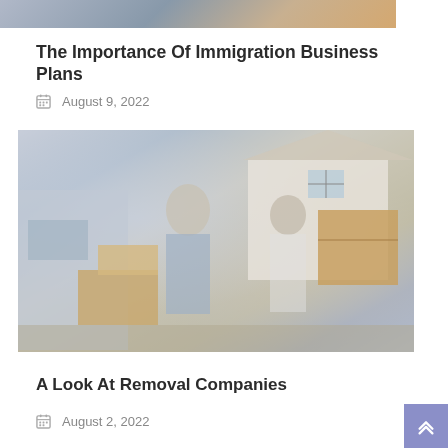[Figure (photo): Partial photo at top of page showing colorful spines or items, cropped view]
The Importance Of Immigration Business Plans
August 9, 2022
[Figure (photo): A man and woman smiling while moving boxes in front of a house. The woman holds a large cardboard box and the man has a hand truck with boxes near a van.]
A Look At Removal Companies
August 2, 2022